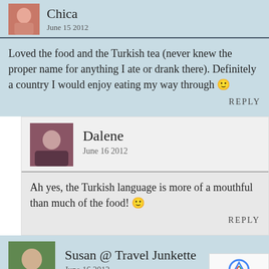Chica
June 15 2012
Loved the food and the Turkish tea (never knew the proper name for anything I ate or drank there). Definitely a country I would enjoy eating my way through 🙂
REPLY
Dalene
June 16 2012
Ah yes, the Turkish language is more of a mouthful than much of the food! 🙂
REPLY
Susan @ Travel Junkette
June 16 2012